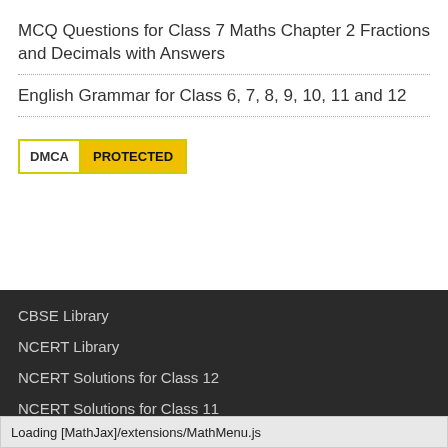MCQ Questions for Class 7 Maths Chapter 2 Fractions and Decimals with Answers
English Grammar for Class 6, 7, 8, 9, 10, 11 and 12
[Figure (logo): DMCA Protected badge with yellow border and yellow PROTECTED label]
CBSE Library
NCERT Library
NCERT Solutions for Class 12
NCERT Solutions for Class 11
NCERT Solutions for Class 10
NCERT Solutions for Class 9
NCERT Solutions for Class 8
Loading [MathJax]/extensions/MathMenu.js